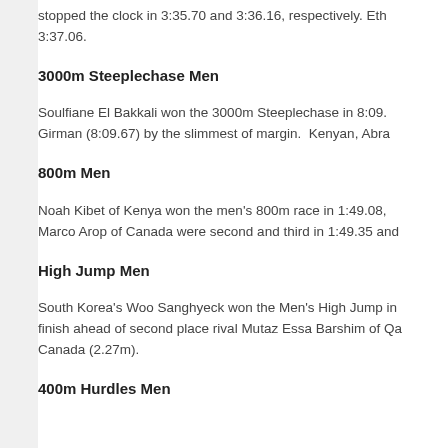stopped the clock in 3:35.70 and 3:36.16, respectively. Eth 3:37.06.
3000m Steeplechase Men
Soulfiane El Bakkali won the 3000m Steeplechase in 8:09. Girman (8:09.67) by the slimmest of margin. Kenyan, Abra
800m Men
Noah Kibet of Kenya won the men's 800m race in 1:49.08, Marco Arop of Canada were second and third in 1:49.35 and
High Jump Men
South Korea's Woo Sanghyeck won the Men's High Jump in finish ahead of second place rival Mutaz Essa Barshim of Qa Canada (2.27m).
400m Hurdles Men